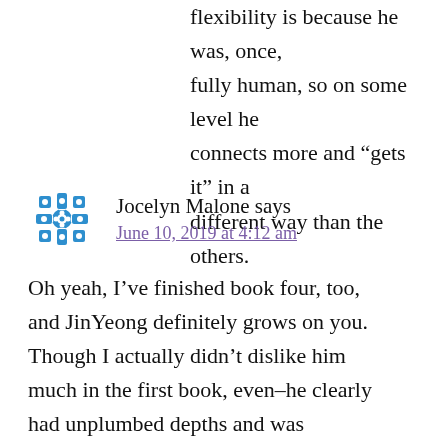flexibility is because he was, once, fully human, so on some level he connects more and “gets it” in a different way than the others.
[Figure (illustration): Blue decorative avatar icon with a snowflake/geometric pattern design]
Jocelyn Malone says
June 10, 2019 at 4:12 am
Oh yeah, I’ve finished book four, too, and JinYeong definitely grows on you. Though I actually didn’t dislike him much in the first book, even–he clearly had unplumbed depths and was deliberately projecting a certain image.